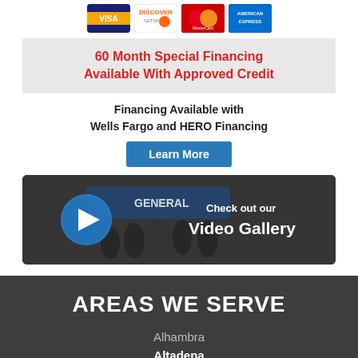[Figure (illustration): Credit card logos: Visa, Discover, MasterCard, American Express]
60 Month Special Financing Available With Approved Credit
Financing Available with Wells Fargo and HERO Financing
Learn More
[Figure (photo): Video gallery thumbnail showing group photo with General company sign in background, play button on left, text 'Check out our Video Gallery' on right]
AREAS WE SERVE
Alhambra
Altadena